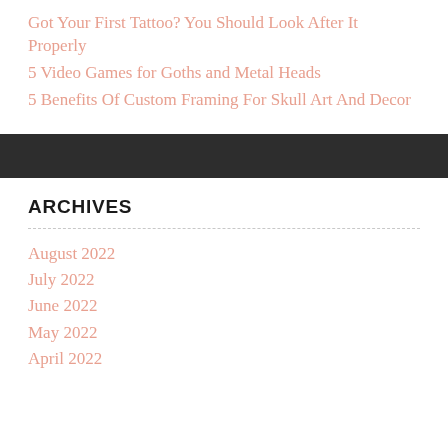Got Your First Tattoo? You Should Look After It Properly
5 Video Games for Goths and Metal Heads
5 Benefits Of Custom Framing For Skull Art And Decor
ARCHIVES
August 2022
July 2022
June 2022
May 2022
April 2022